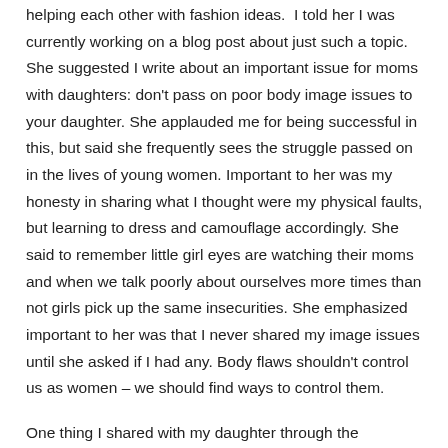helping each other with fashion ideas.  I told her I was currently working on a blog post about just such a topic.  She suggested I write about an important issue for moms with daughters: don't pass on poor body image issues to your daughter. She applauded me for being successful in this, but said she frequently sees the struggle passed on in the lives of young women. Important to her was my honesty in sharing what I thought were my physical faults, but learning to dress and camouflage accordingly. She said to remember little girl eyes are watching their moms and when we talk poorly about ourselves more times than not girls pick up the same insecurities. She emphasized important to her was that I never shared my image issues until she asked if I had any. Body flaws shouldn't control us as women – we should find ways to control them.
One thing I shared with my daughter through the